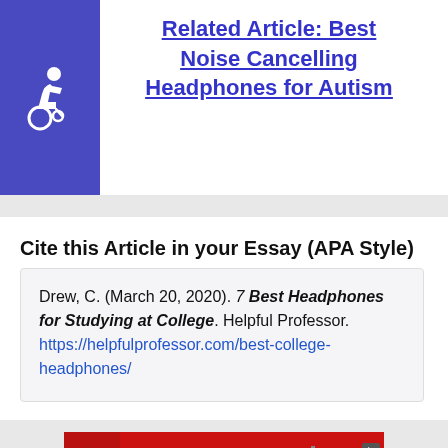Related Article: Best Noise Cancelling Headphones for Autism
[Figure (illustration): Blue accessibility/wheelchair icon badge on left side]
Cite this Article in your Essay (APA Style)
Drew, C. (March 20, 2020). 7 Best Headphones for Studying at College. Helpful Professor. https://helpfulprofessor.com/best-college-headphones/
[Figure (other): Red advertisement banner: Text LiveLongDC to 888-811 to find naloxone near you.]